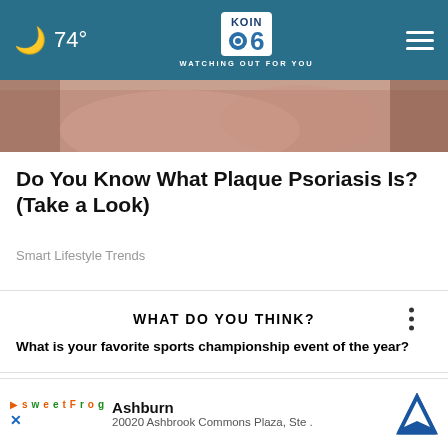74° KOIN 6 CBS WATCHING OUT FOR YOU
[Figure (photo): Close-up photo of a foot/heel, visible skin texture, on a wooden surface background]
Do You Know What Plaque Psoriasis Is? (Take a Look)
Smart Lifestyle Trends
WHAT DO YOU THINK?
What is your favorite sports championship event of the year?
The Super Bowl
NBA Championship
T
T
[Figure (screenshot): Ad banner: Ashburn 20020 Ashbrook Commons Plaza, Ste. with SweetFrog and X logos, and a navigation arrow icon]